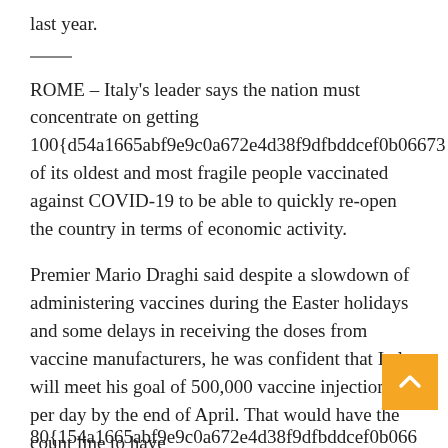last year.
ROME – Italy's leader says the nation must concentrate on getting 100{d54a1665abf9e9c0a672e4d38f9dfbddcef0b06673 of its oldest and most fragile people vaccinated against COVID-19 to be able to quickly re-open the country in terms of economic activity.
Premier Mario Draghi said despite a slowdown of administering vaccines during the Easter holidays and some delays in receiving the doses from vaccine manufacturers, he was confident that Italy will meet his goal of 500,000 vaccine injections per day by the end of April. That would have the count line to have
80{154a1665abf9e9c0a672e4d38f9dfbddcef0b0667...